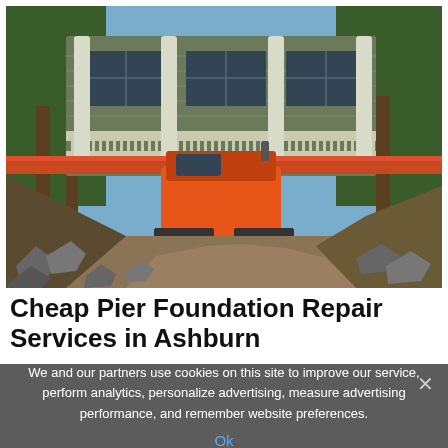[Figure (photo): Construction photo showing a house being lifted or stabilized with heavy equipment. An orange skid steer/excavator machine is visible beneath the raised house structure. The foreground shows excavated earth, rocks, and debris. The house has white columns and a porch railing visible. Trees are in the background.]
Cheap Pier Foundation Repair Services in Ashburn
We and our partners use cookies on this site to improve our service, perform analytics, personalize advertising, measure advertising performance, and remember website preferences.
Ok